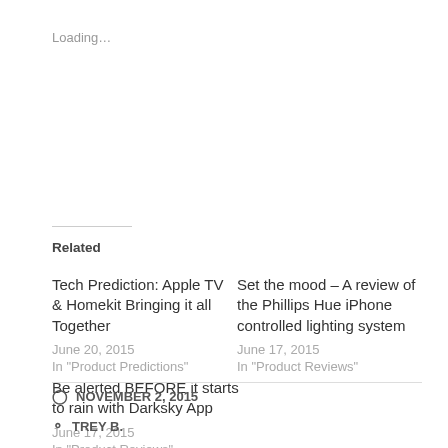Loading…
Related
Tech Prediction: Apple TV & Homekit Bringing it all Together
June 20, 2015
In "Product Predictions"
Set the mood – A review of the Phillips Hue iPhone controlled lighting system
June 17, 2015
In "Product Reviews"
Be alerted BEFORE it starts to rain with Darksky App
June 17, 2015
In "Product Reviews"
NOVEMBER 2, 2015
TREY B.